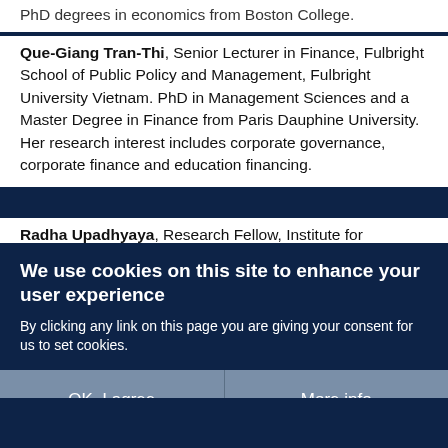PhD degrees in economics from Boston College.
Que-Giang Tran-Thi, Senior Lecturer in Finance, Fulbright School of Public Policy and Management, Fulbright University Vietnam. PhD in Management Sciences and a Master Degree in Finance from Paris Dauphine University. Her research interest includes corporate governance, corporate finance and education financing.
Radha Upadhyaya, Research Fellow, Institute for Development Studies, University of Nairobi. PhD and...
We use cookies on this site to enhance your user experience
By clicking any link on this page you are giving your consent for us to set cookies.
OK, I agree
More info